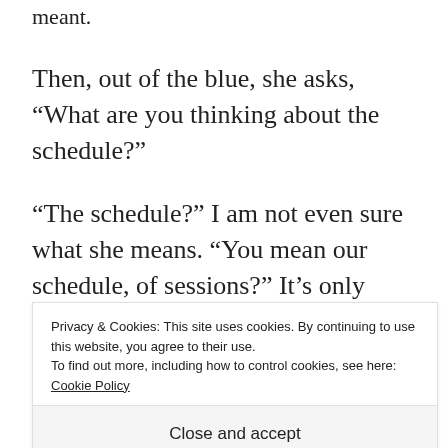meant.
Then, out of the blue, she asks, “What are you thinking about the schedule?”
“The schedule?” I am not even sure what she means. “You mean our schedule, of sessions?” It’s only March 9, so we have barely returned to our regular schedule after my experiment of far fewer sessions in February.
Privacy & Cookies: This site uses cookies. By continuing to use this website, you agree to their use.
To find out more, including how to control cookies, see here: Cookie Policy
Close and accept
you’ll let me know straight away, right?”